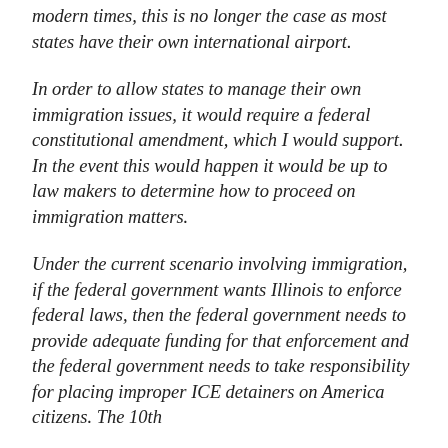modern times, this is no longer the case as most states have their own international airport.
In order to allow states to manage their own immigration issues, it would require a federal constitutional amendment, which I would support. In the event this would happen it would be up to law makers to determine how to proceed on immigration matters.
Under the current scenario involving immigration, if the federal government wants Illinois to enforce federal laws, then the federal government needs to provide adequate funding for that enforcement and the federal government needs to take responsibility for placing improper ICE detainers on America citizens. The 10th